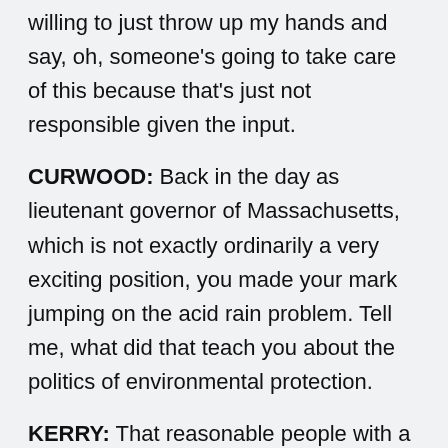willing to just throw up my hands and say, oh, someone's going to take care of this because that's just not responsible given the input.
CURWOOD: Back in the day as lieutenant governor of Massachusetts, which is not exactly ordinarily a very exciting position, you made your mark jumping on the acid rain problem. Tell me, what did that teach you about the politics of environmental protection.
KERRY: That reasonable people with a reasonable purpose in public life are able to work together, Republican and Democrat, in order to do things that are good for American citizens. I was a lieutenant governor, but Michael Dukakis allowed me to be the chair of the governor's task force for him. I worked with Governor John Sununu of New Hampshire, I worked with Governor Dick Celeste of Ohio, and we put together, the three of